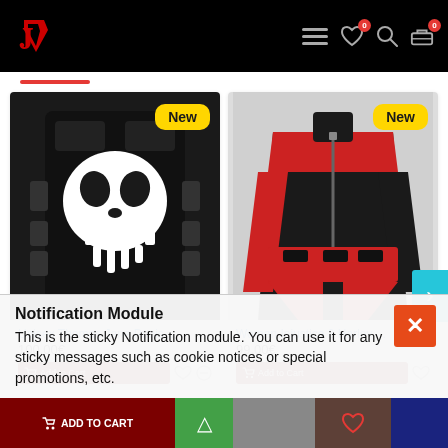[Figure (screenshot): E-commerce website header with black background, red logo on left, and navigation icons (hamburger, heart with 0 badge, search, cart with 0 badge) on right]
[Figure (photo): Punisher vest: black tactical vest with white skull logo]
New
Unisex Thomas Jane Punis...
100.00€
[Figure (photo): Women's Injustice 2 Harley Quinn jacket: black and red leather jacket with zipper]
New
Women Injustice 2 Harley ...
99.00€
Notification Module
This is the sticky Notification module. You can use it for any sticky messages such as cookie notices or special promotions, etc.